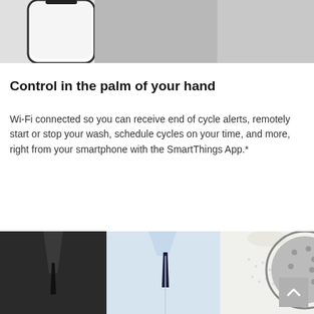[Figure (photo): Top portion of a smartphone/device image alongside a background photo, partially cropped at the top of the page.]
Control in the palm of your hand
Wi-Fi connected so you can receive end of cycle alerts, remotely start or stop your wash, schedule cycles on your time, and more, right from your smartphone with the SmartThings App.*
[Figure (photo): Bottom image showing three garments (dark suit jacket, light blue dress shirt with tie, white blouse) alongside a washer drum, partially cropped at the bottom of the page.]